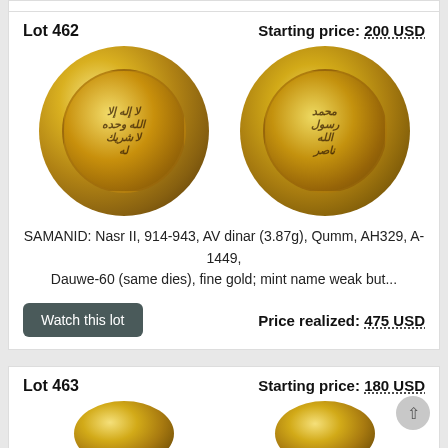Lot 462
Starting price: 200 USD
[Figure (photo): Two views of a gold Samanid dinar coin showing Arabic inscriptions]
SAMANID: Nasr II, 914-943, AV dinar (3.87g), Qumm, AH329, A-1449, Dauwe-60 (same dies), fine gold; mint name weak but...
Watch this lot
Price realized: 475 USD
Lot 463
Starting price: 180 USD
[Figure (photo): Partial view of two gold coins from Lot 463]